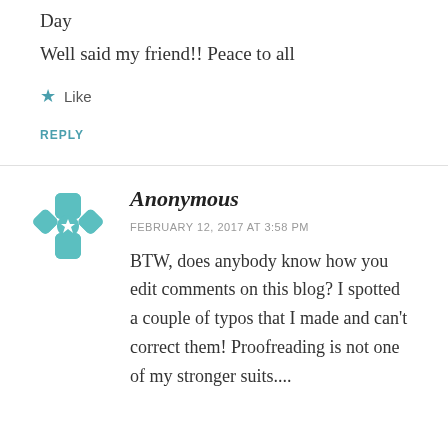Day
Well said my friend!! Peace to all
★ Like
REPLY
[Figure (illustration): Teal/turquoise geometric flower/snowflake pattern avatar icon]
Anonymous
FEBRUARY 12, 2017 AT 3:58 PM
BTW, does anybody know how you edit comments on this blog? I spotted a couple of typos that I made and can't correct them! Proofreading is not one of my stronger suits....